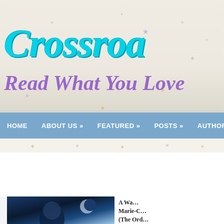[Figure (screenshot): Blog website header banner with decorative star elements and light beige/cream background]
Crossroa
Read What You Love
HOME   ABOUT US »   FEATURED »   POSTS »   AUTHORCHA…
A Warlock's Storm by @mcbourque #blitz with @XpressoTours # the Black Oak Boxset + a 25$ Amazon Gift Card
11:30 PM   CROSSROAD REVIEWS   NO COMMENTS
[Figure (photo): Book cover photo for A Warlock's Storm showing a figure against a moonlit blue background]
A Wa… Marie-C… (The Ord…